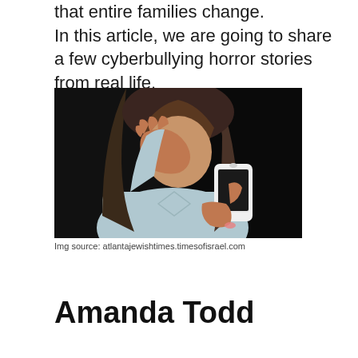that entire families change.
In this article, we are going to share a few cyberbullying horror stories from real life.
[Figure (photo): A young woman with long dark hair covering her face with one hand while looking at a white smartphone, against a dark background, appearing distressed.]
Img source: atlantajewishtimes.timesofisrael.com
Amanda Todd